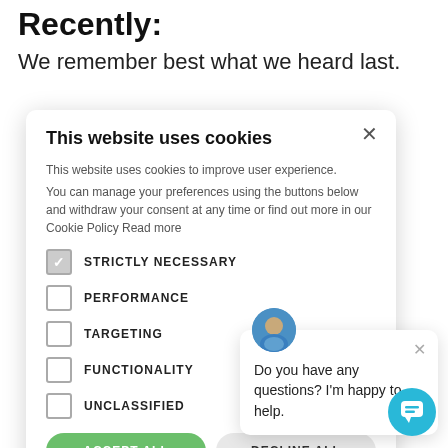Recently:
We remember best what we heard last.
[Figure (screenshot): Cookie consent modal dialog with checkboxes for STRICTLY NECESSARY, PERFORMANCE, TARGETING, FUNCTIONALITY, UNCLASSIFIED, and buttons ACCEPT ALL / DECLINE ALL]
st often.
hat are
[Figure (screenshot): Chat widget popup with avatar and text: Do you have any questions? I'm happy to help.]
[Figure (illustration): Teal circular chat bubble button in bottom right corner]